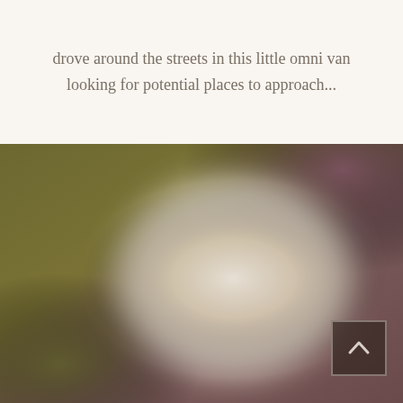drove around the streets in this little omni van looking for potential places to approach...
[Figure (photo): A blurry, out-of-focus photograph with warm olive-green tones on the left and muted mauve/purple tones on the right, with a bright white/cream glowing area in the center-right. A dark semi-transparent back-to-top arrow button is overlaid in the lower right corner.]